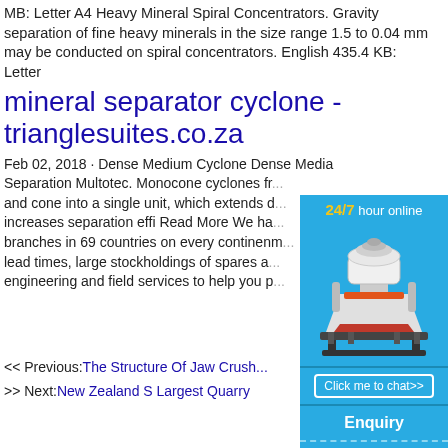MB: Letter A4 Heavy Mineral Spiral Concentrators. Gravity separation of fine heavy minerals in the size range 1.5 to 0.04 mm may be conducted on spiral concentrators. English 435.4 KB: Letter
mineral separator cyclone - trianglesuites.co.za
Feb 02, 2018 · Dense Medium Cyclone Dense Media Separation Multotec. Monocone cyclones fr... and cone into a single unit, which extends d... and increases separation effi Read More We ha... d branches in 69 countries on every continenm... lead times, large stockholdings of spares a... engineering and field services to help you p...
[Figure (photo): Advertisement widget with cyan/blue background showing a cone crusher machine, '24/7 hour online' header text in yellow and white, 'Click me to chat>>' button, 'Enquiry' section, and 'limingjlmofen' text at bottom.]
<< Previous: The Structure Of Jaw Crush...
>> Next: New Zealand S Largest Quarry